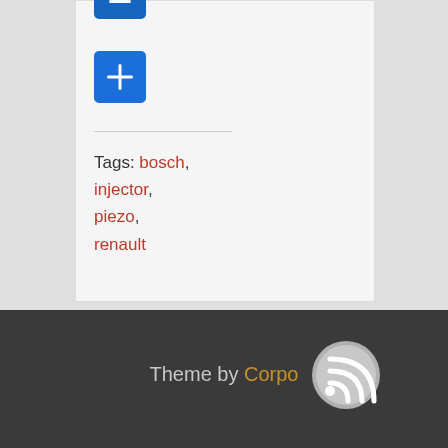[Figure (screenshot): Blue minus button (partially visible at top) and blue plus button on a light gray background within a white/light card area]
Tags: bosch, injector, piezo, renault
Theme by Corpo